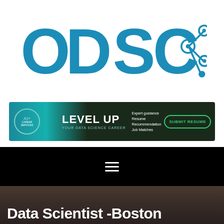[Figure (logo): ODSC logo in blue with letters O, D, S, C and a network/share icon on the right side]
[Figure (infographic): AI+ Career Services banner: 'LEVEL UP YOUR DATA SCIENCE CAREER' with text 'Expert guidance, Resume Recommendation, Job Matches' and a green 'SUBMIT RESUME' button]
[Figure (infographic): Black navigation bar with white hamburger menu icon (three horizontal lines)]
Data Scientist -Boston